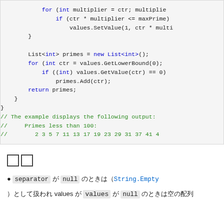[Figure (screenshot): Code block showing C# code snippet with for loops, list operations, and comments showing example output of prime numbers less than 100]
備考
● separator が null のときは ( String.Empty ) として扱われ values が null のときは空の配列